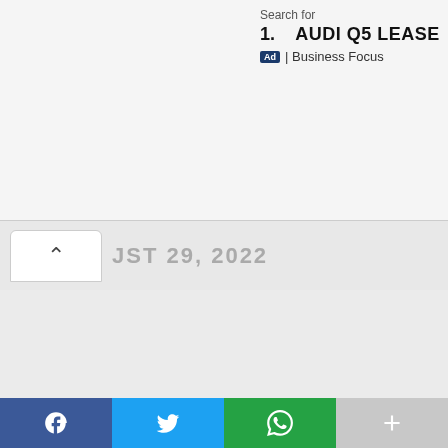Search for
1.   AUDI Q5 LEASE
Ad | Business Focus
JST 29, 2022
[Figure (screenshot): Social share bar with Facebook, Twitter, WhatsApp, and more (+) buttons]